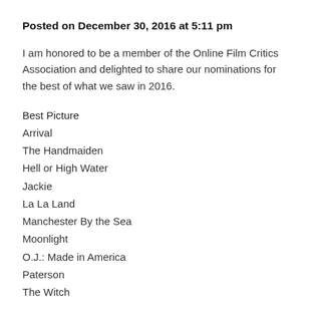Posted on December 30, 2016 at 5:11 pm
I am honored to be a member of the Online Film Critics Association and delighted to share our nominations for the best of what we saw in 2016.
Best Picture
Arrival
The Handmaiden
Hell or High Water
Jackie
La La Land
Manchester By the Sea
Moonlight
O.J.: Made in America
Paterson
The Witch